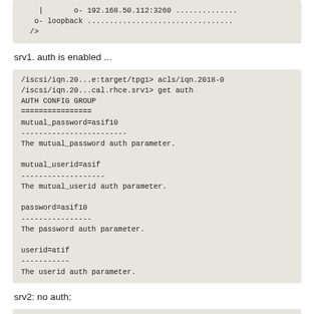[Figure (screenshot): Code block showing iSCSI configuration with loopback and closing tag]
srv1. auth is enabled ...
[Figure (screenshot): Code block showing iSCSI auth config with mutual_password, mutual_userid, password, userid parameters]
srv2: no auth;
[Figure (screenshot): Code block at bottom (partially visible)]